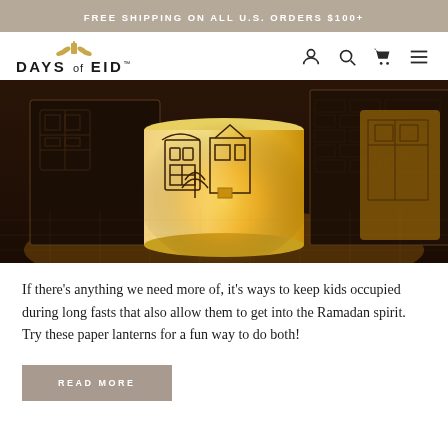FREE SHIPPING ON ALL U.S. ORDERS $100+
[Figure (logo): Days of Eid logo with small wheat/laurel icon above text]
[Figure (photo): Photo of illuminated paper lanterns with Islamic city architecture drawings on them, glowing warm yellow/orange light on a textured surface]
If there's anything we need more of, it's ways to keep kids occupied during long fasts that also allow them to get into the Ramadan spirit. Try these paper lanterns for a fun way to do both!
READ MORE